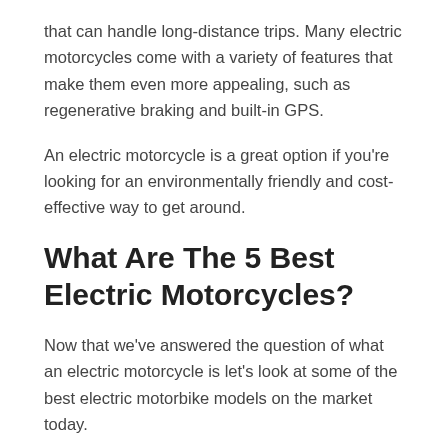that can handle long-distance trips. Many electric motorcycles come with a variety of features that make them even more appealing, such as regenerative braking and built-in GPS.
An electric motorcycle is a great option if you're looking for an environmentally friendly and cost-effective way to get around.
What Are The 5 Best Electric Motorcycles?
Now that we've answered the question of what an electric motorcycle is let's look at some of the best electric motorbike models on the market today.
1. Harley Davidson LiveWire